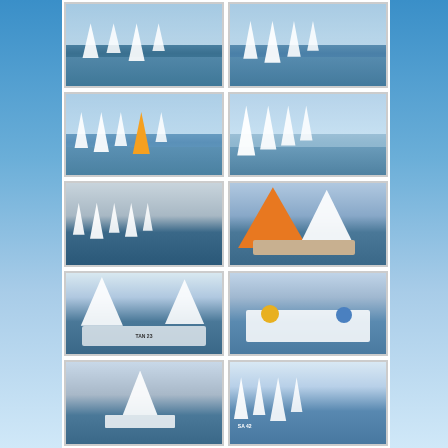[Figure (photo): Sailing regatta photo - multiple small sailboats on water, row 1 left]
[Figure (photo): Sailing regatta photo - multiple small sailboats on water, row 1 right]
[Figure (photo): Sailing regatta photo - fleet of Optimist sailboats racing, row 2 left]
[Figure (photo): Sailing regatta photo - close up of sailboats with DSC markings, row 2 right]
[Figure (photo): Sailing regatta photo - fleet of sailboats in grey sky conditions, row 3 left]
[Figure (photo): Sailing regatta photo - orange spinnaker with sailors, row 3 right]
[Figure (photo): Sailing regatta photo - race committee boat with sailors, TAN 23 marking, row 4 left]
[Figure (photo): Sailing regatta photo - two sailors in a dinghy with yellow and blue hats, row 4 right]
[Figure (photo): Sailing regatta photo - single sailboat on water, row 5 left]
[Figure (photo): Sailing regatta photo - fleet of Optimist sailboats, SA 42 visible, row 5 right]